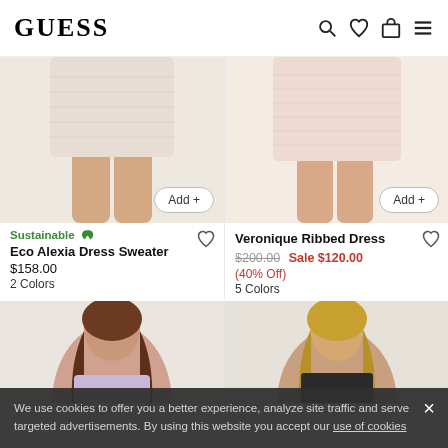GUESS
[Figure (photo): Eco Alexia Dress Sweater product photo showing lower body of model in beige textured dress, Add button]
[Figure (photo): Veronique Ribbed Dress product photo showing lower body of model in pink/peach ribbed dress, Add button]
Sustainable 🌿
Eco Alexia Dress Sweater
$158.00
2 Colors
Veronique Ribbed Dress
$200.00 Sale $120.00
(40% Off)
5 Colors
[Figure (photo): Product photo showing brunette model in lavender/light purple sleeveless dress from waist up]
[Figure (photo): Product photo showing blonde model in dark long-sleeve top from waist up]
We use cookies to offer you a better experience, analyze site traffic and serve targeted advertisements. By using this website you accept our use of cookies